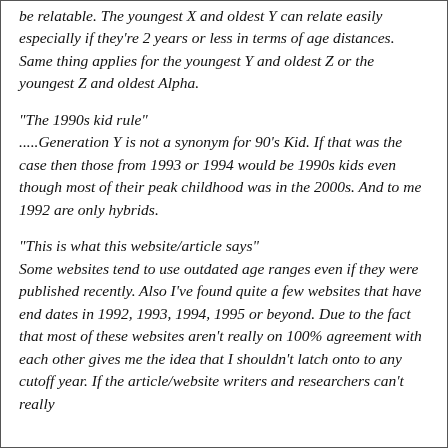be relatable. The youngest X and oldest Y can relate easily especially if they're 2 years or less in terms of age distances. Same thing applies for the youngest Y and oldest Z or the youngest Z and oldest Alpha.
"The 1990s kid rule"
.....Generation Y is not a synonym for 90's Kid. If that was the case then those from 1993 or 1994 would be 1990s kids even though most of their peak childhood was in the 2000s. And to me 1992 are only hybrids.
"This is what this website/article says"
Some websites tend to use outdated age ranges even if they were published recently. Also I've found quite a few websites that have end dates in 1992, 1993, 1994, 1995 or beyond. Due to the fact that most of these websites aren't really on 100% agreement with each other gives me the idea that I shouldn't latch onto to any cutoff year. If the article/website writers and researchers can't really